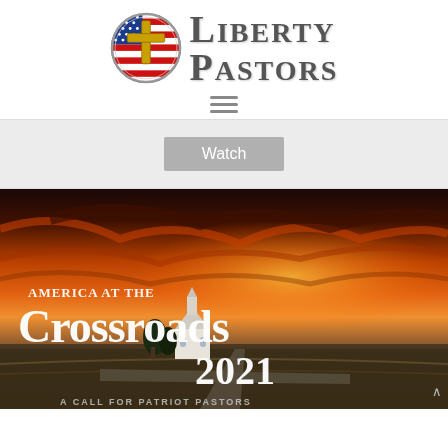[Figure (logo): Liberty Pastors logo with circular badge showing a golden cross over an American flag, next to serif text reading LIBERTY PASTORS]
[Figure (illustration): Hamburger menu icon (three horizontal lines)]
Watch
[Figure (photo): Aerial/dramatic sunset photo of a rural American crossroads with a white church building and farm fields. Overlaid text reads: AMERICA AT THE Crossroads 2021 with partial text at bottom: A CALL FOR PATRIOT PASTORS]